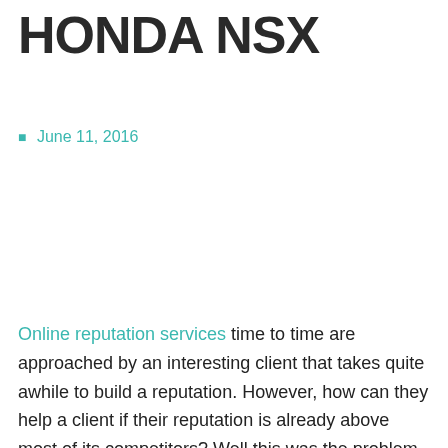HONDA NSX
June 11, 2016
Online reputation services time to time are approached by an interesting client that takes quite awhile to build a reputation. However, how can they help a client if their reputation is already above most of its competitors? Well this was the problem Online reputation management